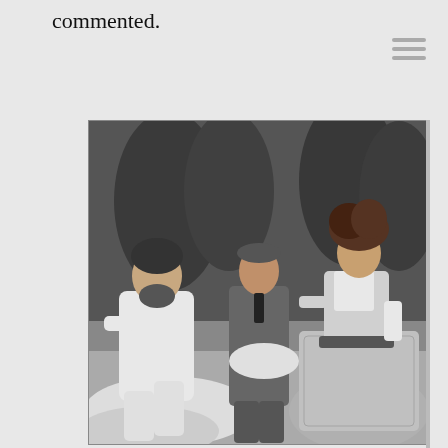commented.
[Figure (photo): Black and white theatrical stage photograph showing three performers in period costume. On the left, a man in a white suit is seated/crouching. In the center, a man in a dark suit holds a white hat. On the right, a woman in an elaborate patterned Victorian-era dress with an ornate upswept hairstyle stands facing the other two.]